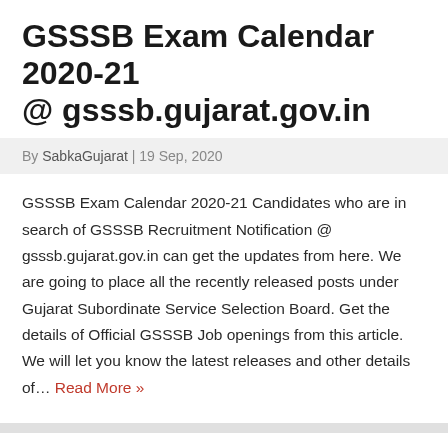GSSSB Exam Calendar 2020-21 @ gsssb.gujarat.gov.in
By SabkaGujarat | 19 Sep, 2020
GSSSB Exam Calendar 2020-21 Candidates who are in search of GSSSB Recruitment Notification @ gsssb.gujarat.gov.in can get the updates from here. We are going to place all the recently released posts under Gujarat Subordinate Service Selection Board. Get the details of Official GSSSB Job openings from this article. We will let you know the latest releases and other details of… Read More »
10th Pass Govt Jobs
12th Pass Govt Jobs
Graduate Jobs
GSSSB Updates
India Jobs
ITI Jobs
LATEST NEWS
Post Graduate Jobs